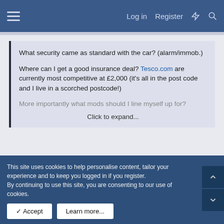Log in  Register
What security came as standard with the car? (alarm/immob.)

Where can I get a good insurance deal? Tesco.com are currently most competitive at £2,000 (it's all in the post code and I live in a scorched postcode!)

More importantly what mods should I line myself up for?

Click to expand...
Mine has a standard factory fit alarm/immob. The alarm is triggered when the car is moved (if someone where to try and lift it onto a tow truck) or by internal movement (smashed
This site uses cookies to help personalise content, tailor your experience and to keep you logged in if you register.
By continuing to use this site, you are consenting to our use of cookies.